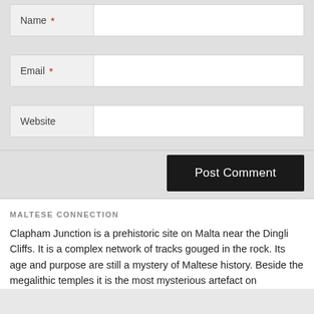[Figure (screenshot): Web form with Name, Email, and Website input fields with required asterisks, and a Post Comment button]
MALTESE CONNECTION
Clapham Junction is a prehistoric site on Malta near the Dingli Cliffs. It is a complex network of tracks gouged in the rock. Its age and purpose are still a mystery of Maltese history. Beside the megalithic temples it is the most mysterious artefact on